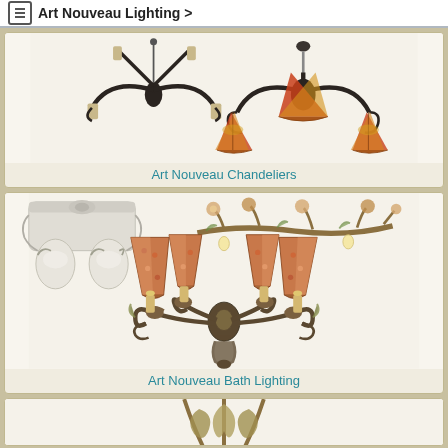Art Nouveau Lighting >
[Figure (photo): Art Nouveau chandeliers product category image showing ornate metal chandeliers with stained glass shades]
Art Nouveau Chandeliers
[Figure (photo): Art Nouveau bath lighting product category image showing decorative wall sconces with ornate metal work and mosaic shades]
Art Nouveau Bath Lighting
[Figure (photo): Partial view of another Art Nouveau lighting category at bottom of page]